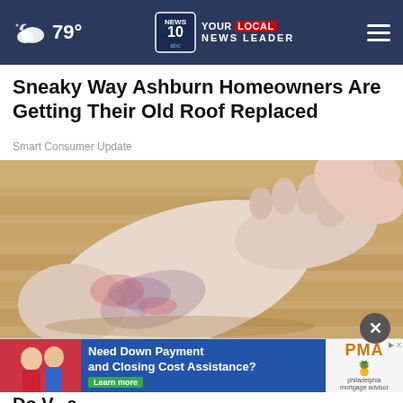79° NEWS10 YOUR LOCAL NEWS LEADER
Sneaky Way Ashburn Homeowners Are Getting Their Old Roof Replaced
Smart Consumer Update
[Figure (photo): Close-up photo of a human foot with discoloration and skin condition, held by hands, on a wooden floor background]
[Figure (screenshot): Advertisement banner: Need Down Payment and Closing Cost Assistance? Learn more. PMA - Philadelphia Mortgage Advisors logo with pineapple icon. Shows couple smiling in foreground.]
Do V...a